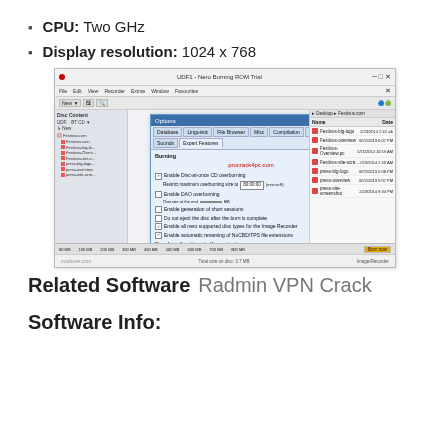CPU: Two GHz
Display resolution: 1024 x 768
[Figure (screenshot): Screenshot of Nero Burning ROM Trial software with an Options dialog box open, showing burning settings and a file panel on the right. The dialog contains tabs (Database, Linguistic, File Browser, Misc, Compilation, Cache, Sounds, Expert Features) with Burning tab active, showing checkboxes for OPC, DAO overburning, generation of short sessions, disc ejection, disc copy image recorder, and automatic renaming. A procrack4pc.com watermark is visible. Bottom has OK, Cancel, Help buttons.]
Related Software  Radmin VPN Crack
Software Info: